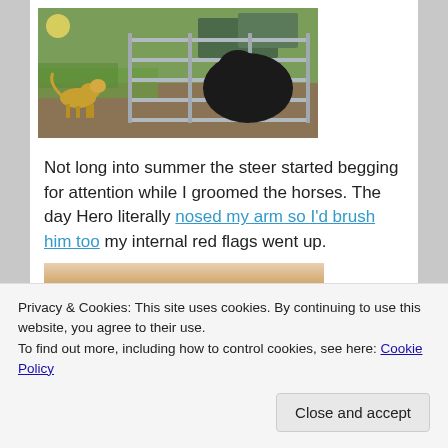[Figure (photo): A dog standing outside near a metal fence/pen with a large black animal (steer/cattle) visible behind the fence. Green grass and outdoor setting visible.]
Not long into summer the steer started begging for attention while I groomed the horses. The day Hero literally nosed my arm so I'd brush him too my internal red flags went up.
[Figure (photo): Partial view of another photo below the text, showing what appears to be a person with reddish/orange hair outdoors.]
Privacy & Cookies: This site uses cookies. By continuing to use this website, you agree to their use.
To find out more, including how to control cookies, see here: Cookie Policy
Close and accept